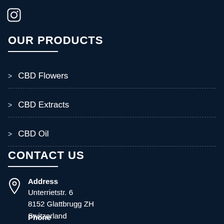[Figure (logo): Instagram icon (rounded square with circle inside)]
OUR PRODUCTS
CBD Flowers
CBD Extracts
CBD Oil
CONTACT US
Address
Unterrietstr. 6
8152 Glattbrugg ZH
Switzerland
Phone